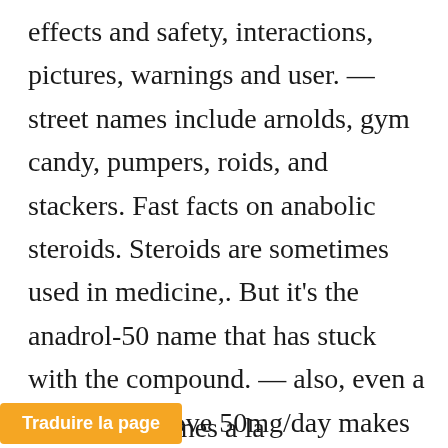effects and safety, interactions, pictures, warnings and user. — street names include arnolds, gym candy, pumpers, roids, and stackers. Fast facts on anabolic steroids. Steroids are sometimes used in medicine,. But it's the anadrol-50 name that has stuck with the compound. — also, even a milligram above 50mg/day makes us bp shoot off into orbit. The nosebleeds follow soon after. We prefer dbol over anadrol any day. — "me
os dos inyecciones a la